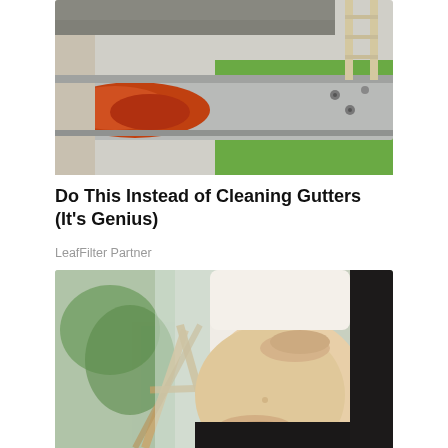[Figure (photo): Close-up photo of a rusty/dirty house gutter with orange rust stains, green grass and metal fasteners visible in background]
Do This Instead of Cleaning Gutters (It's Genius)
LeafFilter Partner
[Figure (photo): Photo of a pregnant woman in a white top and black pants, cradling her baby bump with both hands, with a plant and wooden furniture in the blurred background]